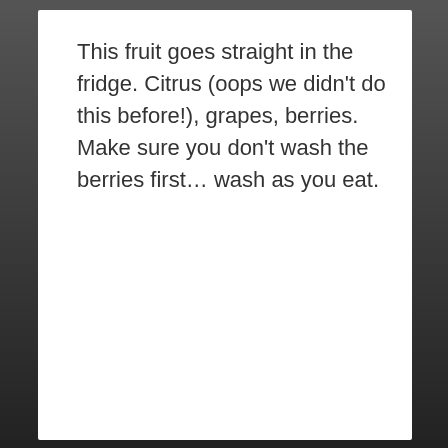This fruit goes straight in the fridge. Citrus (oops we didn't do this before!), grapes, berries. Make sure you don't wash the berries first... wash as you eat.